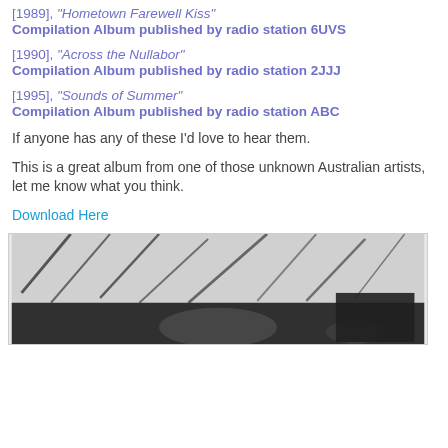[1989], "Hometown Farewell Kiss" Compilation Album published by radio station 6UVS
[1990], "Across the Nullabor" Compilation Album published by radio station 2JJJ
[1995], "Sounds of Summer" Compilation Album published by radio station ABC
If anyone has any of these I'd love to hear them.
This is a great album from one of those unknown Australian artists, let me know what you think.
Download Here
[Figure (photo): Black and white photo, partially visible, appears to show a person or subject with diagonal lines/scratches visible in the upper portion]